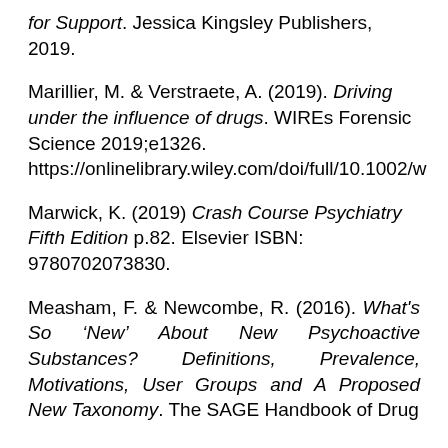for Support. Jessica Kingsley Publishers, 2019.
Marillier, M. & Verstraete, A. (2019). Driving under the influence of drugs. WIREs Forensic Science 2019;e1326. https://onlinelibrary.wiley.com/doi/full/10.1002/w
Marwick, K. (2019) Crash Course Psychiatry Fifth Edition p.82. Elsevier ISBN: 9780702073830.
Measham, F. & Newcombe, R. (2016). What's So 'New' About New Psychoactive Substances? Definitions, Prevalence, Motivations, User Groups and A Proposed New Taxonomy. The SAGE Handbook of Drug